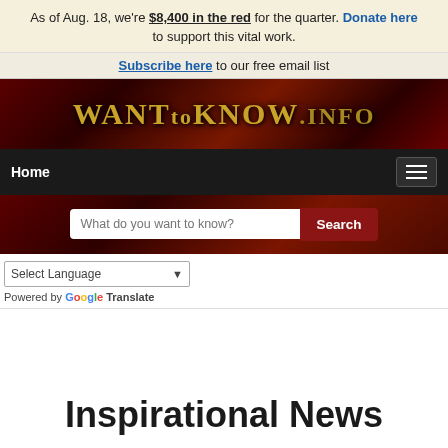As of Aug. 18, we're $8,400 in the red for the quarter. Donate here to support this vital work.
Subscribe here to our free email list
[Figure (logo): WANTtoKNOW.INFO website logo with gold letters on dark red/maroon gradient background]
Home [hamburger menu]
What do you want to know? [Search button]
Select Language [dropdown] Powered by Google Translate
Inspirational News